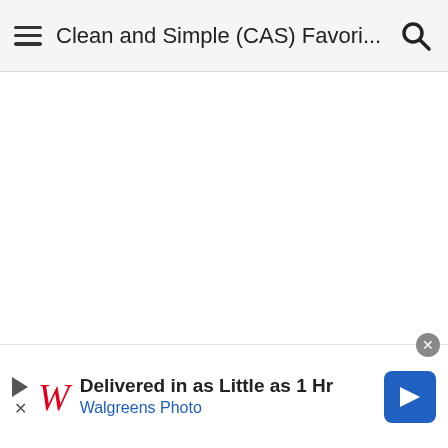Clean and Simple (CAS) Favori...
[Figure (other): White blank content area (image not loaded)]
05-26-2020 12:26 PM by dahlia19   #28
Jen (Miss Boo) thank you so much for including my card in your favorites! I really appreciate it! And thank you Karen for
[Figure (other): Walgreens Photo advertisement banner: Delivered in as Little as 1 Hr, Walgreens Photo]